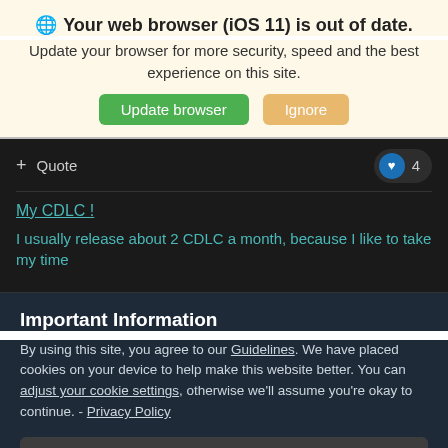🌐 Your web browser (iOS 11) is out of date.
Update your browser for more security, speed and the best experience on this site.
Update browser  Ignore
+ Quote  ♥ 4
My CDLC !
I usually release about 2 CDLC a month, because I like to take my time
Important Information
By using this site, you agree to our Guidelines. We have placed cookies on your device to help make this website better. You can adjust your cookie settings, otherwise we'll assume you're okay to continue. - Privacy Policy
✔ I accept